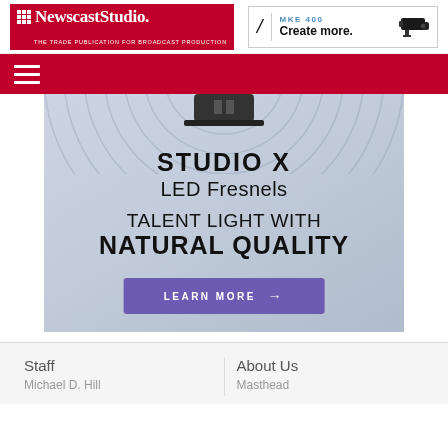NewscastStudio — THE TRADE PUBLICATION FOR BROADCAST PRODUCTION
[Figure (screenshot): Sennheiser MKE 400 advertisement banner: logo, 'MKE 400 Create more.' text, microphone image]
[Figure (illustration): Navigation hamburger menu (three horizontal lines) on red background]
[Figure (infographic): Studio X LED Fresnels advertisement: 'STUDIO X LED Fresnels TALENT LIGHT WITH NATURAL QUALITY' on gradient background with circular design and purple LEARN MORE button]
Staff
Michael D. Hill
About Us
Masthead